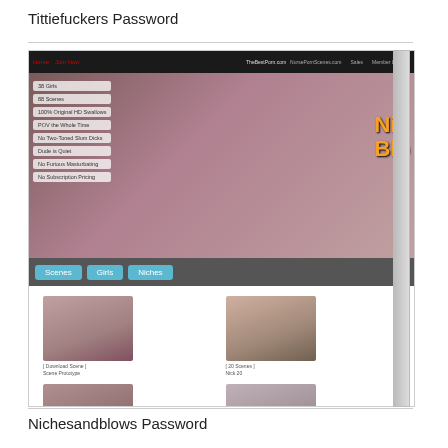Tittiefuckers Password
[Figure (screenshot): Screenshot of an adult website showing navigation bar, hero image, feature list, tabs for Scenes/Girls/Niches, and thumbnail grid of video previews]
Nichesandblows Password